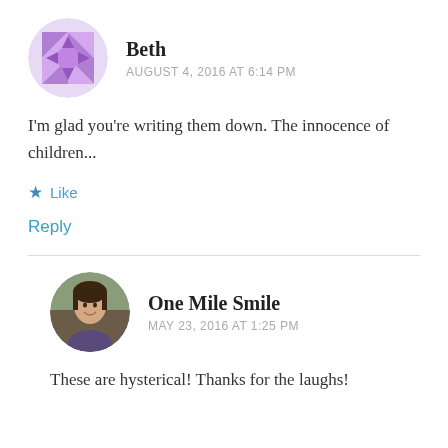[Figure (illustration): Purple geometric quilt-pattern avatar for user Beth, circular crop]
Beth
AUGUST 4, 2016 AT 6:14 PM
I'm glad you're writing them down. The innocence of children...
★ Like
Reply
[Figure (photo): Circular photo of a woman smiling, dark hair, purple/blue top, outdoor background]
One Mile Smile
MAY 23, 2016 AT 1:25 PM
These are hysterical! Thanks for the laughs!